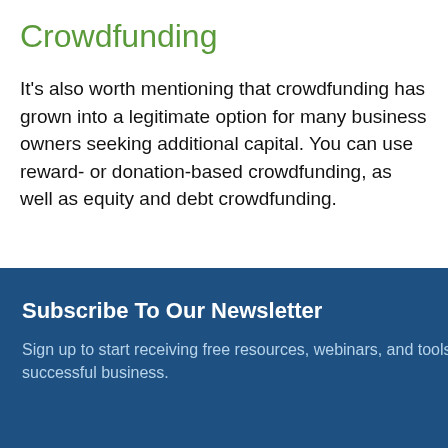Crowdfunding
It's also worth mentioning that crowdfunding has grown into a legitimate option for many business owners seeking additional capital. You can use reward- or donation-based crowdfunding, as well as equity and debt crowdfunding.
[Figure (other): Newsletter subscription modal overlay with title 'Subscribe To Our Newsletter', subtitle text, email input field, and SUBMIT button on a dark blue background with a close (×) button.]
own business does so—and a lack of funding is often the reason why. Don't let financing issues stop you from